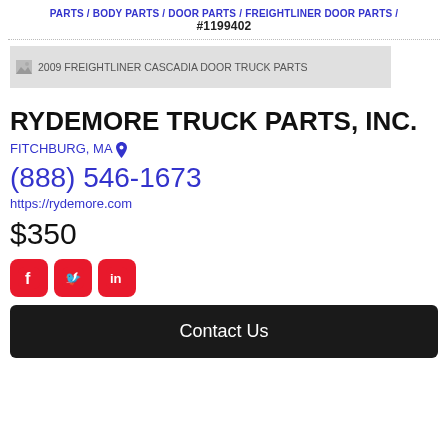PARTS / BODY PARTS / DOOR PARTS / FREIGHTLINER DOOR PARTS / #1199402
[Figure (photo): Product image placeholder showing '2009 FREIGHTLINER CASCADIA DOOR TRUCK PARTS']
RYDEMORE TRUCK PARTS, INC.
FITCHBURG, MA 📍
(888) 546-1673
https://rydemore.com
$350
[Figure (logo): Social media icons: Facebook, Twitter, LinkedIn]
Contact Us